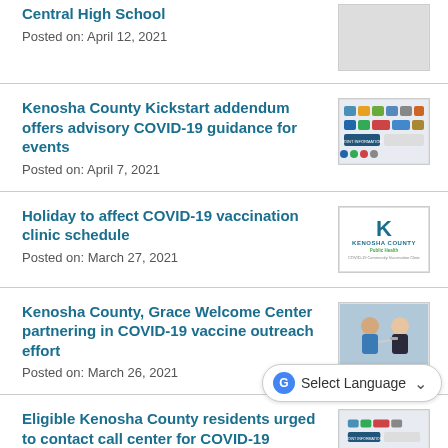Central High School
Posted on: April 12, 2021
Kenosha County Kickstart addendum offers advisory COVID-19 guidance for events
Posted on: April 7, 2021
[Figure (photo): Kenosha County Kickstart partner logos grid]
Holiday to affect COVID-19 vaccination clinic schedule
Posted on: March 27, 2021
[Figure (logo): Kenosha County Public Health - COVID-19 Community Vaccination Clinic logo]
Kenosha County, Grace Welcome Center partnering in COVID-19 vaccine outreach effort
Posted on: March 26, 2021
[Figure (photo): Photo of person receiving COVID-19 vaccine injection]
Eligible Kenosha County residents urged to contact call center for COVID-19 vaccine
[Figure (photo): Kenosha County partner logos for vaccine outreach]